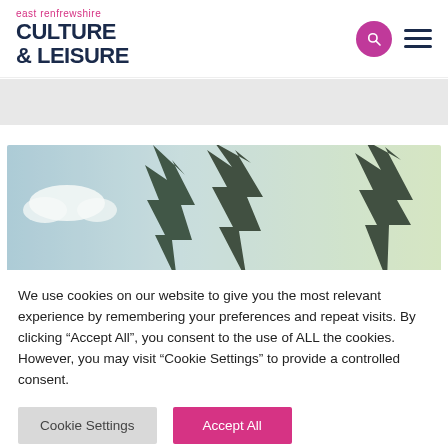east renfrewshire CULTURE & LEISURE
[Figure (photo): Tall pine trees against a pale blue sky with clouds, banner/hero image]
We use cookies on our website to give you the most relevant experience by remembering your preferences and repeat visits. By clicking “Accept All”, you consent to the use of ALL the cookies. However, you may visit "Cookie Settings" to provide a controlled consent.
Cookie Settings
Accept All